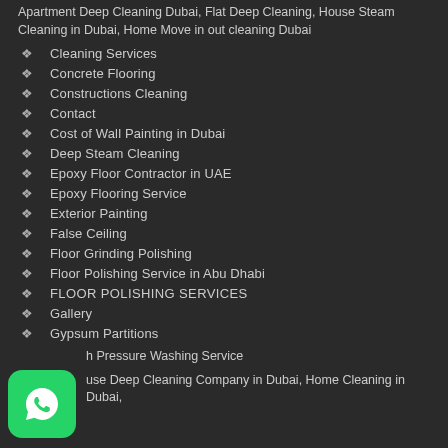Apartment Deep Cleaning Dubai, Flat Deep Cleaning, House Steam Cleaning in Dubai, Home Move in out cleaning Dubai
Cleaning Services
Concrete Flooring
Constructions Cleaning
Contact
Cost of Wall Painting in Dubai
Deep Steam Cleaning
Epoxy Floor Contractor in UAE
Epoxy Flooring Service
Exterior Painting
False Ceiling
Floor Grinding Polishing
Floor Polishing Service in Abu Dhabi
FLOOR POLISHING SERVICES
Gallery
Gypsum Partitions
h Pressure Washing Service
use Deep Cleaning Company in Dubai, Home Cleaning in Dubai,